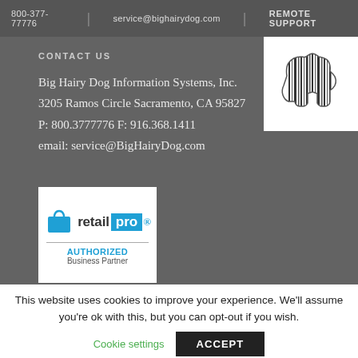800-377-77776 | service@bighairydog.com | REMOTE SUPPORT
CONTACT US
Big Hairy Dog Information Systems, Inc.
3205 Ramos Circle Sacramento, CA 95827
P: 800.3777776 F: 916.368.1411
email: service@BigHairyDog.com
[Figure (logo): Big Hairy Dog logo — dog silhouette filled with vertical barcode stripes]
[Figure (logo): Retail Pro Authorized Business Partner logo — shopping bag icon with 'retail pro' text and AUTHORIZED Business Partner text below divider]
This website uses cookies to improve your experience. We'll assume you're ok with this, but you can opt-out if you wish.
Cookie settings   ACCEPT